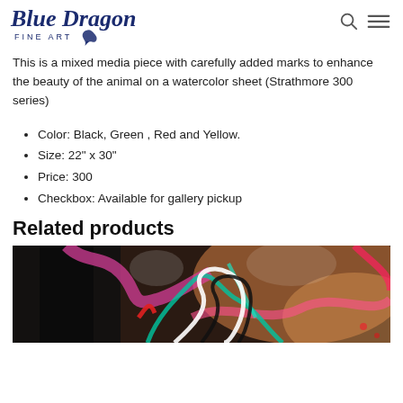Blue Dragon Fine Art
This is a mixed media piece with carefully added marks to enhance the beauty of the animal on a watercolor sheet (Strathmore 300 series)
Color: Black, Green , Red and Yellow.
Size: 22" x 30"
Price: 300
Checkbox: Available for gallery pickup
Related products
[Figure (photo): A colorful mixed media abstract artwork with swirling patterns of black, white, pink, teal, and red on a warm background, showing dynamic brush strokes and spray paint effects.]